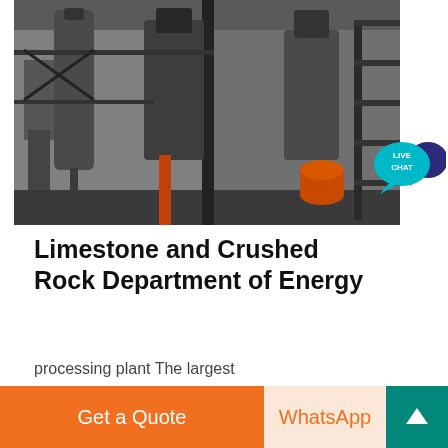[Figure (photo): Industrial processing plant interior with steel structures, silos, machinery, conveyors, and an orange barrel visible]
Limestone and Crushed Rock Department of Energy
processing plant The largest
[Figure (photo): Partial view of industrial scaffolding/steel frame structure outdoors against grey sky]
[Figure (infographic): Live Chat speech bubble icon in teal/blue]
Get a Quote
WhatsApp